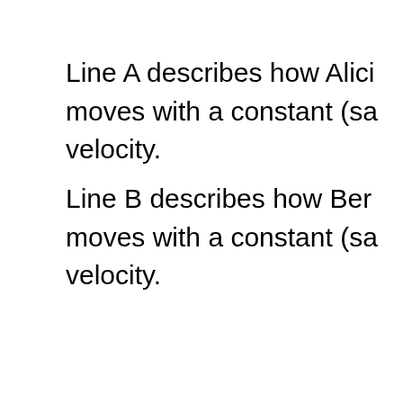Line A describes how Alicia moves with a constant (same) velocity.
Line B describes how Bernie moves with a constant (same) velocity.
Line A shows that Alicia has travelled 1 m after 1 s, 2 m after 2 s and 4 m after 4 s. This means that Alicia's velocity
v = 1 m/s
Line B shows that Bernie has travelled 2 m after 1 s and